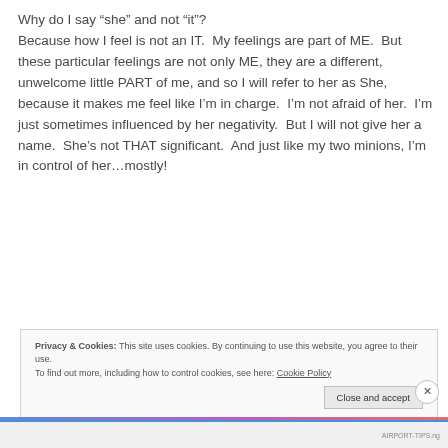Why do I say “she” and not “it”? Because how I feel is not an IT. My feelings are part of ME. But these particular feelings are not only ME, they are a different, unwelcome little PART of me, and so I will refer to her as She, because it makes me feel like I’m in charge. I’m not afraid of her. I’m just sometimes influenced by her negativity. But I will not give her a name. She’s not THAT significant. And just like my two minions, I’m in control of her…mostly!
Privacy & Cookies: This site uses cookies. By continuing to use this website, you agree to their use. To find out more, including how to control cookies, see here: Cookie Policy
Close and accept
AIRPORT-TIPS.ng